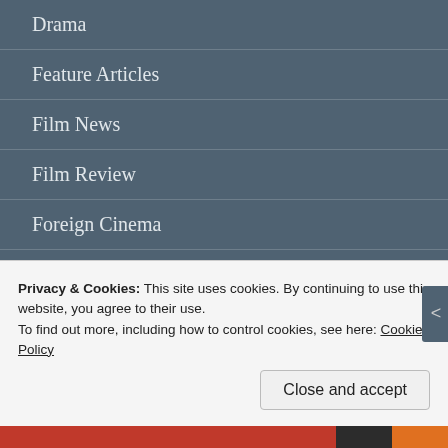Drama
Feature Articles
Film News
Film Review
Foreign Cinema
Horror
Movie Trailers
Sci-Fi
Privacy & Cookies: This site uses cookies. By continuing to use this website, you agree to their use.
To find out more, including how to control cookies, see here: Cookie Policy
Close and accept